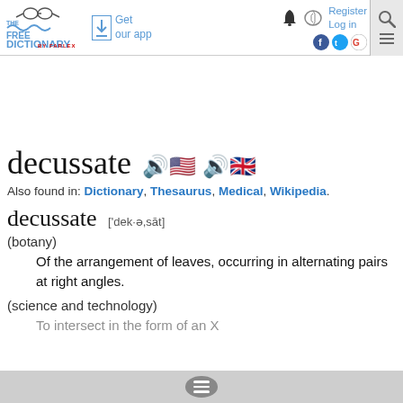The Free Dictionary by Farlex — Get our app — Register Log in
decussate
Also found in: Dictionary, Thesaurus, Medical, Wikipedia.
decussate  ['dek·ə,sāt]
(botany)
Of the arrangement of leaves, occurring in alternating pairs at right angles.
(science and technology)
To intersect in the form of an X...